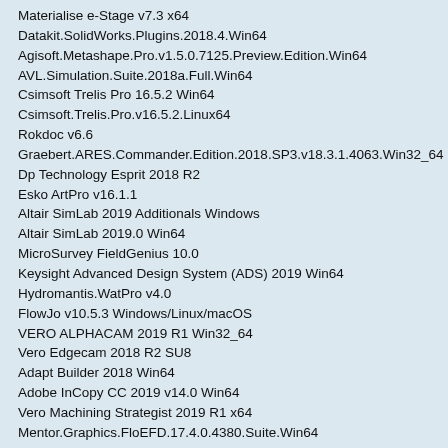Materialise e-Stage v7.3 x64
Datakit.SolidWorks.Plugins.2018.4.Win64
Agisoft.Metashape.Pro.v1.5.0.7125.Preview.Edition.Win64
AVL.Simulation.Suite.2018a.Full.Win64
Csimsoft Trelis Pro 16.5.2 Win64
Csimsoft.Trelis.Pro.v16.5.2.Linux64
Rokdoc v6.6
Graebert.ARES.Commander.Edition.2018.SP3.v18.3.1.4063.Win32_64
Dp Technology Esprit 2018 R2
Esko ArtPro v16.1.1
Altair SimLab 2019 Additionals Windows
Altair SimLab 2019.0 Win64
MicroSurvey FieldGenius 10.0
Keysight Advanced Design System (ADS) 2019 Win64
Hydromantis.WatPro v4.0
FlowJo v10.5.3 Windows/Linux/macOS
VERO ALPHACAM 2019 R1 Win32_64
Vero Edgecam 2018 R2 SU8
Adapt Builder 2018 Win64
Adobe InCopy CC 2019 v14.0 Win64
Vero Machining Strategist 2019 R1 x64
Mentor.Graphics.FloEFD.17.4.0.4380.Suite.Win64
Mentor.Graphics.FloTHERM.XT.3.3.Win64
epifan.Software.ecuEdit.v3.12
DIgSILENT PowerFactory 2022 x64